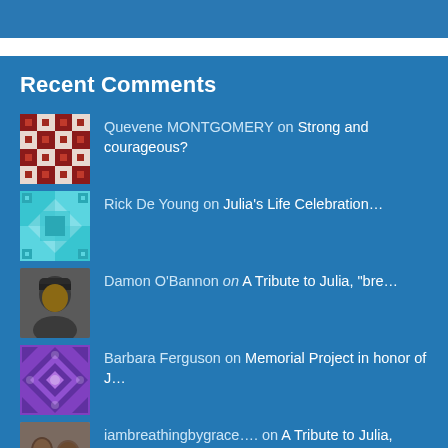Recent Comments
Quevene MONTGOMERY on Strong and courageous?
Rick De Young on Julia's Life Celebration...
Damon O'Bannon on A Tribute to Julia, "bre...
Barbara Ferguson on Memorial Project in honor of J...
iambreathingbygrace.... on A Tribute to Julia, "bre...